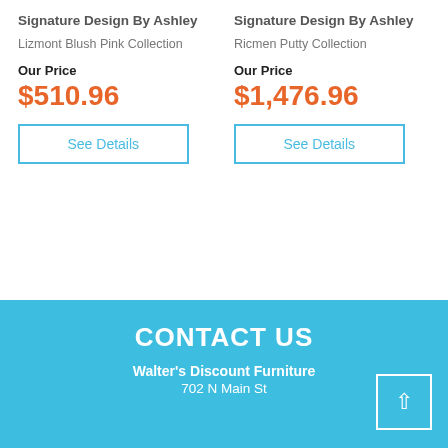Signature Design By Ashley
Lizmont Blush Pink Collection
Our Price
$510.96
See Details
Signature Design By Ashley
Ricmen Putty Collection
Our Price
$1,476.96
See Details
CONTACT US
Walter's Discount Furniture
702 N Main St